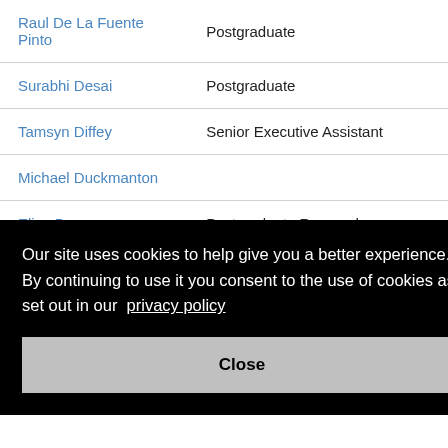| Name | Role |
| --- | --- |
| Raul De La Fuente Pinto | Postgraduate |
| Surabhi Desai | Postgraduate |
| Tamsyn Diffey | Senior Executive Assistant |
| Michael Duckmanton |  |
| Eliza Duncan | Postgraduate Researcher |
| [partial name] |  |
Our site uses cookies to help give you a better experience. By continuing to use it you consent to the use of cookies as set out in our  privacy policy